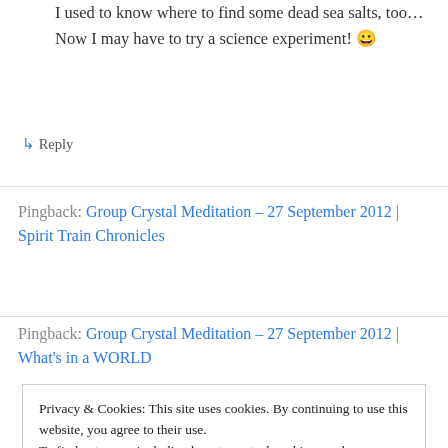I used to know where to find some dead sea salts, too… Now I may have to try a science experiment! 😀
↳ Reply
Pingback: Group Crystal Meditation – 27 September 2012 | Spirit Train Chronicles
Pingback: Group Crystal Meditation – 27 September 2012 | What's in a WORLD
Privacy & Cookies: This site uses cookies. By continuing to use this website, you agree to their use.
To find out more, including how to control cookies, see here: Cookie Policy
Close and accept
my site to have chat about Sirian and my other